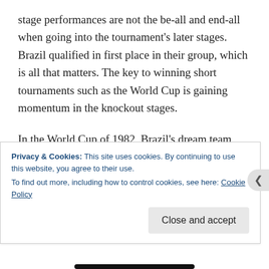stage performances are not the be-all and end-all when going into the tournament's later stages. Brazil qualified in first place in their group, which is all that matters. The key to winning short tournaments such as the World Cup is gaining momentum in the knockout stages.
In the World Cup of 1982, Brazil's dream team with Zico, Sócrates and Falcão were terrific in the group stage, comfortably winning all three matches and dazzling spectators all over the globe. However, they did not address some defensive issues that cropped up
Privacy & Cookies: This site uses cookies. By continuing to use this website, you agree to their use.
To find out more, including how to control cookies, see here: Cookie Policy